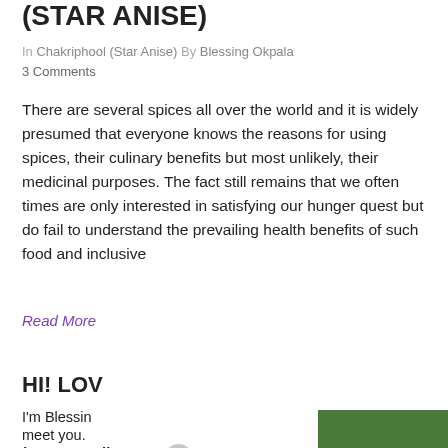(STAR ANISE)
In Chakriphool (Star Anise) By Blessing Okpala
3 Comments
There are several spices all over the world and it is widely presumed that everyone knows the reasons for using spices, their culinary benefits but most unlikely, their medicinal purposes. The fact still remains that we often times are only interested in satisfying our hunger quest but do fail to understand the prevailing health benefits of such food and inclusive
Read More
HI! LOV
I'm Blessing meet you.
journey to discover, share
[Figure (screenshot): Popup modal with book image, email subscription form with 'Subscribe to Global Food Book's email list and get a FREE eBook.' text, email address input field, orange SUBSCRIBE button, and privacy policy text.]